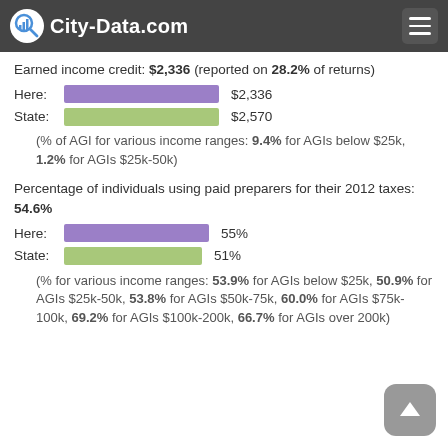City-Data.com
Earned income credit: $2,336 (reported on 28.2% of returns)
[Figure (bar-chart): Earned income credit comparison]
(% of AGI for various income ranges: 9.4% for AGIs below $25k, 1.2% for AGIs $25k-50k)
Percentage of individuals using paid preparers for their 2012 taxes: 54.6%
[Figure (bar-chart): Paid preparers comparison]
(% for various income ranges: 53.9% for AGIs below $25k, 50.9% for AGIs $25k-50k, 53.8% for AGIs $50k-75k, 60.0% for AGIs $75k-100k, 69.2% for AGIs $100k-200k, 66.7% for AGIs over 200k)